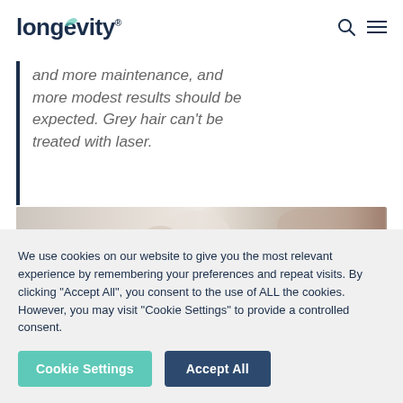longevity
and more maintenance, and more modest results should be expected. Grey hair can't be treated with laser.
[Figure (photo): Partial view of a laser hair removal device and a person's skin, shown in a cropped image strip.]
We use cookies on our website to give you the most relevant experience by remembering your preferences and repeat visits. By clicking "Accept All", you consent to the use of ALL the cookies. However, you may visit "Cookie Settings" to provide a controlled consent.